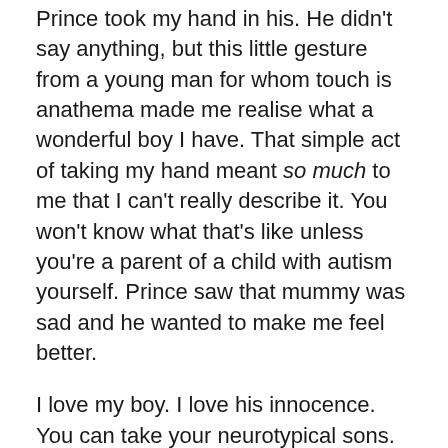Prince took my hand in his. He didn't say anything, but this little gesture from a young man for whom touch is anathema made me realise what a wonderful boy I have. That simple act of taking my hand meant so much to me that I can't really describe it. You won't know what that's like unless you're a parent of a child with autism yourself. Prince saw that mummy was sad and he wanted to make me feel better.
I love my boy. I love his innocence. You can take your neurotypical sons. I'm glad they have parents who love them. I'm glad they will have the chance to 'succeed' in life, to go to work and have a family of their own. But I wouldn't change a hair on my boy's head.
This is a large work I've called you into, but don't be overwhelmed by it. It's best to start small. Give a cool